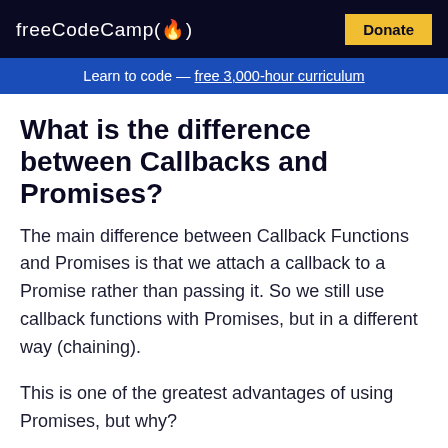freeCodeCamp(🔥)  Donate
Learn to code — free 3,000-hour curriculum
What is the difference between Callbacks and Promises?
The main difference between Callback Functions and Promises is that we attach a callback to a Promise rather than passing it. So we still use callback functions with Promises, but in a different way (chaining).
This is one of the greatest advantages of using Promises, but why?